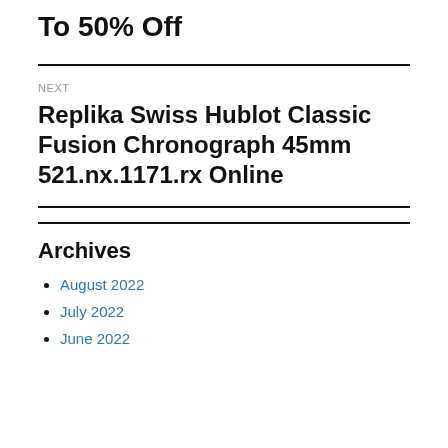To 50% Off
NEXT
Replika Swiss Hublot Classic Fusion Chronograph 45mm 521.nx.1171.rx Online
Archives
August 2022
July 2022
June 2022